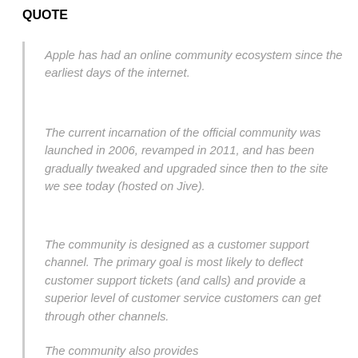QUOTE
Apple has had an online community ecosystem since the earliest days of the internet.
The current incarnation of the official community was launched in 2006, revamped in 2011, and has been gradually tweaked and upgraded since then to the site we see today (hosted on Jive).
The community is designed as a customer support channel. The primary goal is most likely to deflect customer support tickets (and calls) and provide a superior level of customer service customers can get through other channels.
The community also provides...